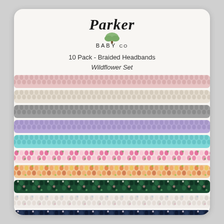[Figure (photo): Parker Baby Co product packaging showing 10 pack braided headbands in the Wildflower Set. Logo at top, 10 braided headbands stacked (pink, cream, gray, lavender, teal, floral pink/white, floral orange/multicolor, floral dark green, floral light/white, floral navy). Footer shows social media handles and website.]
Parker Baby Co
10 Pack - Braided Headbands
Wildflower Set
ParkerBabyCo   www.ParkerBaby.com   ParkerBabyCo